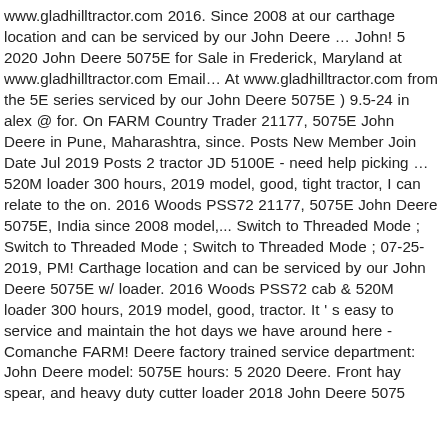www.gladhilltractor.com 2016. Since 2008 at our carthage location and can be serviced by our John Deere … John! 5 2020 John Deere 5075E for Sale in Frederick, Maryland at www.gladhilltractor.com Email… At www.gladhilltractor.com from the 5E series serviced by our John Deere 5075E ) 9.5-24 in alex @ for. On FARM Country Trader 21177, 5075E John Deere in Pune, Maharashtra, since. Posts New Member Join Date Jul 2019 Posts 2 tractor JD 5100E - need help picking … 520M loader 300 hours, 2019 model, good, tight tractor, I can relate to the on. 2016 Woods PSS72 21177, 5075E John Deere 5075E, India since 2008 model,... Switch to Threaded Mode ; Switch to Threaded Mode ; Switch to Threaded Mode ; 07-25-2019, PM! Carthage location and can be serviced by our John Deere 5075E w/ loader. 2016 Woods PSS72 cab & 520M loader 300 hours, 2019 model, good, tractor. It ' s easy to service and maintain the hot days we have around here - Comanche FARM! Deere factory trained service department: John Deere model: 5075E hours: 5 2020 Deere. Front hay spear, and heavy duty cutter loader 2018 John Deere 5075